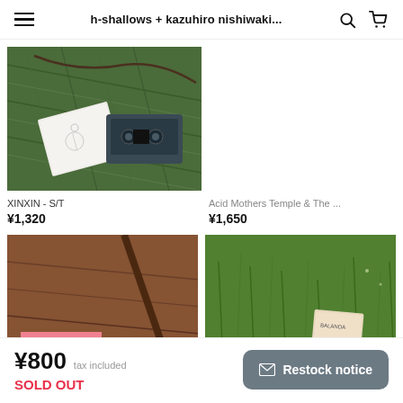h-shallows + kazuhiro nishiwaki...
[Figure (photo): Cassette tape with white illustrated cover on green pine needles background – product image for XINXIN - S/T]
XINXIN - S/T
¥1,320
[Figure (photo): Empty right-side product image placeholder for Acid Mothers Temple & The ...]
Acid Mothers Temple & The ...
¥1,650
[Figure (photo): Close-up of wooden surface with red/pink object – bottom left product image]
[Figure (photo): Grass field with small product card/tag visible – bottom right product image]
¥800 tax included
SOLD OUT
Restock notice